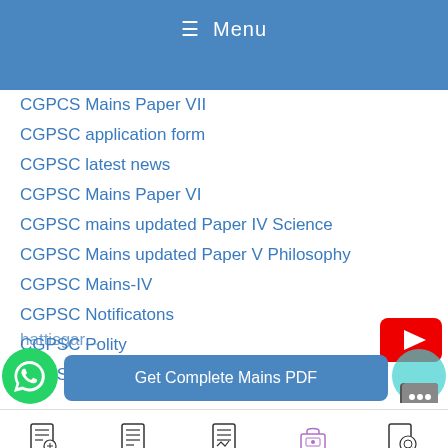≡ Menu
CGPCS Mains Paper VII
CGPSC application form
CGPSC latest news
CGPSC Mains Paper VI
CGPSC mains updated Paper IV Science
CGPSC Mains updated Paper V Philosophy
CGPSC Mains-IV
CGPSC Notificatons
CGPSC Polity
CGPSC Prelims Test Series
Get Complete Mains PDF
Tests  Prelims  Mains  Login  DMPQ